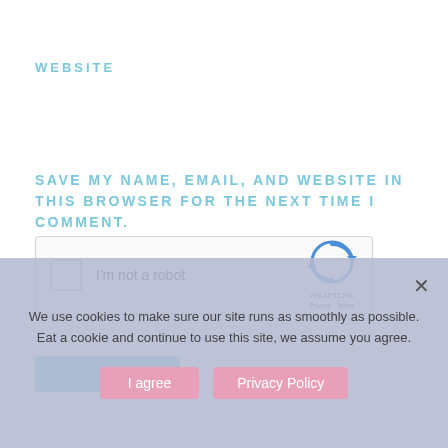WEBSITE
SAVE MY NAME, EMAIL, AND WEBSITE IN THIS BROWSER FOR THE NEXT TIME I COMMENT.
[Figure (other): reCAPTCHA widget with checkbox labeled 'I'm not a robot' and reCAPTCHA logo with Privacy and Terms links]
[Figure (other): Light blue submit button (partially visible)]
We use cookies to make sure our site runs as smoothly as possible. Eat a cookie and continue to use this site, we assume you agree.
I agree   Privacy Policy